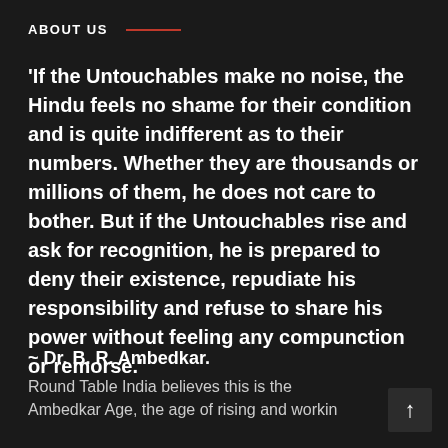ABOUT US
'If the Untouchables make no noise, the Hindu feels no shame for their condition and is quite indifferent as to their numbers. Whether they are thousands or millions of them, he does not care to bother. But if the Untouchables rise and ask for recognition, he is prepared to deny their existence, repudiate his responsibility and refuse to share his power without feeling any compunction or remorse.'
~ Dr. B. R. Ambedkar.
Round Table India believes this is the Ambedkar Age, the age of rising and workin